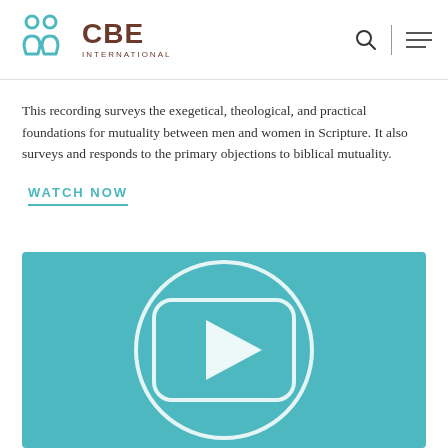CBE International
This recording surveys the exegetical, theological, and practical foundations for mutuality between men and women in Scripture. It also surveys and responds to the primary objections to biblical mutuality.
WATCH NOW
[Figure (illustration): Teal/turquoise background video player thumbnail with a large circle outline and a rounded square play button icon with a triangle play arrow in the center]